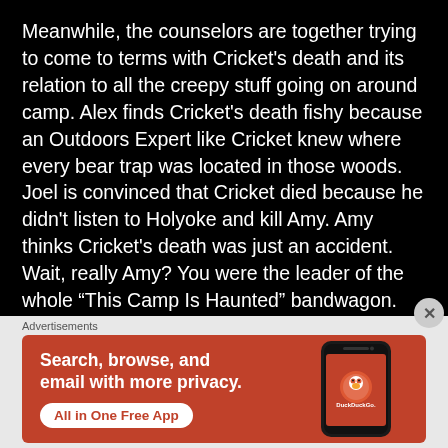Meanwhile, the counselors are together trying to come to terms with Cricket's death and its relation to all the creepy stuff going on around camp. Alex finds Cricket's death fishy because an Outdoors Expert like Cricket knew where every bear trap was located in those woods. Joel is convinced that Cricket died because he didn't listen to Holyoke and kill Amy. Amy thinks Cricket's death was just an accident. Wait, really Amy? You were the leader of the whole “This Camp Is Haunted” bandwagon. You just found out that Cricket died after a ghost explicitly told Joel that someone would die if he didn't kill you. How does any of that add up to being an accident?
[Figure (infographic): DuckDuckGo advertisement banner on orange-red background. Left side shows bold white text: 'Search, browse, and email with more privacy.' with a white rounded button labeled 'All in One Free App'. Right side shows a phone mockup with DuckDuckGo logo and brand name.]